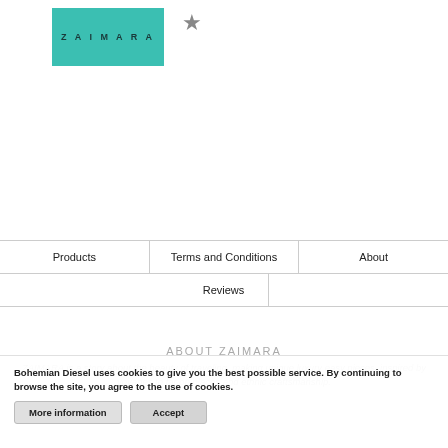[Figure (logo): Zaimara brand logo — teal/turquoise square with ZAIMARA text in dark letters, spaced letterspacing]
[Figure (other): Gray star/bookmark icon to the right of the logo]
Products | Terms and Conditions | About
Reviews
ABOUT ZAIMARA
ZAIMARA is a story about the beauty of traveling, making unique luxury easy pieces, inspired by voyages to far on places and ethnic craftsmanship.
Bohemian Diesel uses cookies to give you the best possible service. By continuing to browse the site, you agree to the use of cookies.
The journey started while Nadia, eternal nomad and designer of